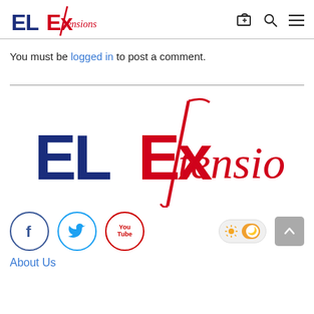ELExtensions logo, cart, search, menu icons
You must be logged in to post a comment.
[Figure (logo): ELExtensions large logo with red script styling]
[Figure (infographic): Social media icons: Facebook, Twitter, YouTube circles; light/dark mode toggle; scroll-to-top button]
About Us